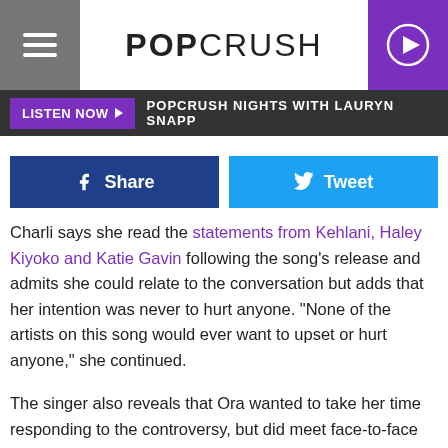POPCRUSH
LISTEN NOW ▶  POPCRUSH NIGHTS WITH LAURYN SNAPP
f Share   Tweet
Charli says she read the statements from Kehlani, Haley Kiyoko and Katie Gavin following the song's release and admits she could relate to the conversation but adds that her intention was never to hurt anyone. "None of the artists on this song would ever want to upset or hurt anyone," she continued.
The singer also reveals that Ora wanted to take her time responding to the controversy, but did meet face-to-face with LGBTQ artists such as Gavin, ALMA and King Princess. As for Charli, she says she wants to continue to learn from the